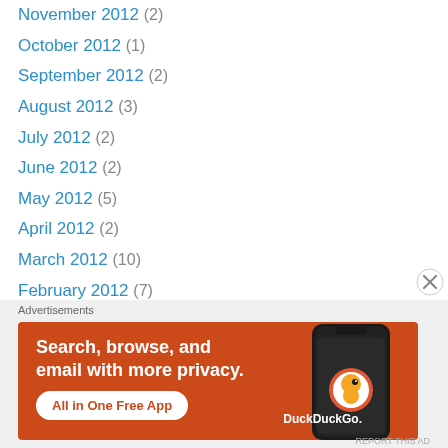November 2012 (2)
October 2012 (1)
September 2012 (2)
August 2012 (3)
July 2012 (2)
June 2012 (2)
May 2012 (5)
April 2012 (2)
March 2012 (10)
February 2012 (7)
January 2012 (9)
December 2011 (10)
November 2011 (9)
October 2011 (10)
September 2011 (...)
[Figure (screenshot): DuckDuckGo advertisement banner: orange background with white text 'Search, browse, and email with more privacy. All in One Free App' and an image of a smartphone with the DuckDuckGo logo]